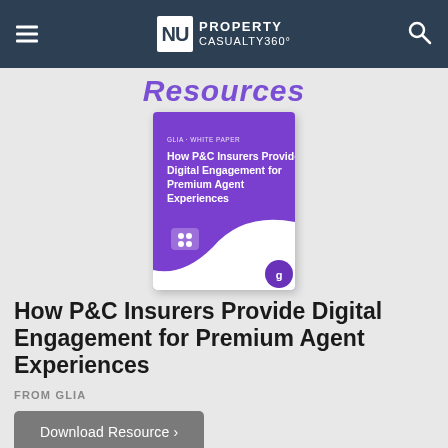NU PROPERTY CASUALTY360°
Resources
[Figure (illustration): White paper book cover with purple gradient background. Title reads: 'GLIA · WHITE PAPER — How P&C Insurers Provide Digital Engagement for Premium Agent Experiences'. Glia logo icon visible at bottom left.]
How P&C Insurers Provide Digital Engagement for Premium Agent Experiences
FROM GLIA
Download Resource ›